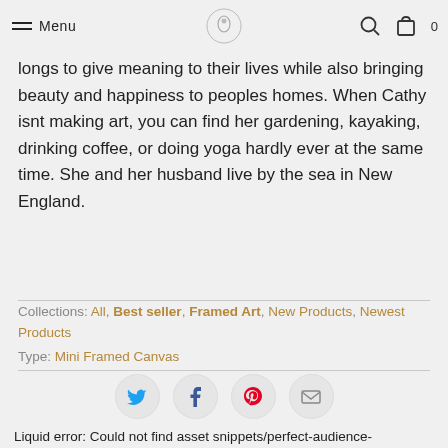Menu [logo] [search] [cart] 0
longs to give meaning to their lives while also bringing beauty and happiness to peoples homes. When Cathy isnt making art, you can find her gardening, kayaking, drinking coffee, or doing yoga hardly ever at the same time. She and her husband live by the sea in New England.
Collections: All, Best seller, Framed Art, New Products, Newest Products
Type: Mini Framed Canvas
[Figure (other): Social share buttons: Twitter, Facebook, Pinterest, Email]
Liquid error: Could not find asset snippets/perfect-audience-...